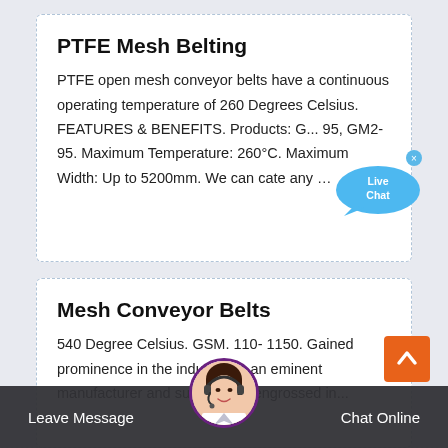PTFE Mesh Belting
PTFE open mesh conveyor belts have a continuous operating temperature of 260 Degrees Celsius. FEATURES & BENEFITS. Products: G... 95, GM2-95. Maximum Temperature: 260°C. Maximum Width: Up to 5200mm. We can cate any …
[Figure (illustration): Live Chat speech bubble icon with 'Live Chat' text and a close (x) button]
Mesh Conveyor Belts
540 Degree Celsius. GSM. 110- 1150. Gained prominence in the industry as an eminent manufacturer and su... we are engrossed in...
[Figure (illustration): Orange scroll-to-top button with upward chevron arrow]
[Figure (photo): Customer service agent avatar photo (woman with headset)]
Leave Message    Chat Online